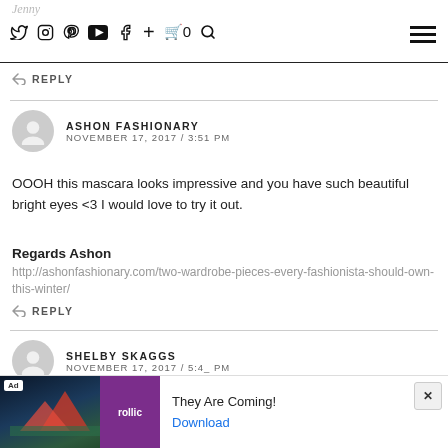jenny — social media icons navigation
↩ REPLY
ASHON FASHIONARY
NOVEMBER 17, 2017 / 3:51 PM
OOOH this mascara looks impressive and you have such beautiful bright eyes <3 I would love to try it out.
Regards Ashon
http://ashonfashionary.com/two-wardrobe-pieces-every-fashionista-should-own-this-winter/
↩ REPLY
SHELBY SKAGGS
NOVEMBER 17, 2017 / 5:4_ PM
[Figure (screenshot): Advertisement banner at bottom of page for 'Rollic' game app showing 'They Are Coming!' with Download button]